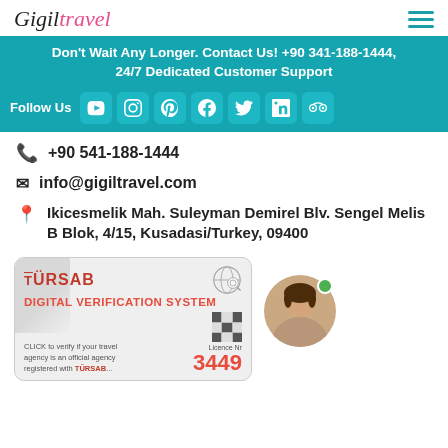Gigil Travel
Don't Wait Any Longer. Contact Us! +90 341-188-1444, 24/7 Dedicated Customer Support
Follow Us
+90 541-188-1444
info@gigiltravel.com
Ikicesmelik Mah. Suleyman Demirel Blv. Sengel Melis B Blok, 4/15, Kusadasi/Turkey, 09400
[Figure (other): TÜRSAB Digital Verification System card showing Licence Nr 3449]
[Figure (photo): Circular avatar photo of a young man smiling, with green online indicator dot]